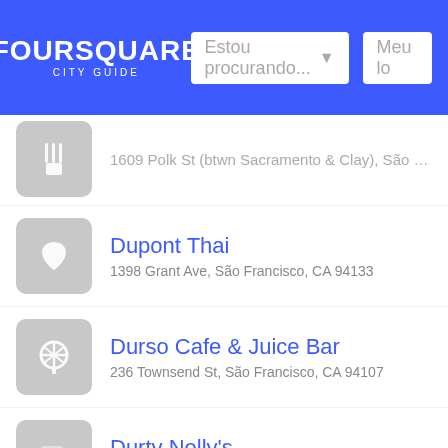FOURSQUARE CITY GUIDE — Estou procurando... Meu lo
1609 Polk St (btwn Sacramento & Clay), São Fran
Dupont Thai — 1398 Grant Ave, São Francisco, CA 94133
Durso Cafe & Juice Bar — 236 Townsend St, São Francisco, CA 94107
Durty Nelly's — 2328 Irving St (at 24th Ave), São Francisco, CA 94
Dusit Thai — 3221 Mission St (at Valencia St), São Francisco, C
Dusty Buns — 11 Division St (at De Haro St), São Francisco, CA
Dutch Windmill